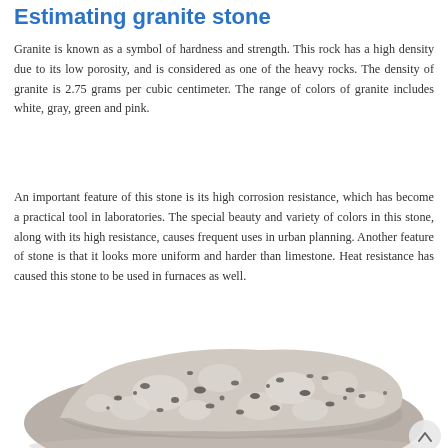Estimating granite stone
Granite is known as a symbol of hardness and strength. This rock has a high density due to its low porosity, and is considered as one of the heavy rocks. The density of granite is 2.75 grams per cubic centimeter. The range of colors of granite includes white, gray, green and pink.
An important feature of this stone is its high corrosion resistance, which has become a practical tool in laboratories. The special beauty and variety of colors in this stone, along with its high resistance, causes frequent uses in urban planning. Another feature of stone is that it looks more uniform and harder than limestone. Heat resistance has caused this stone to be used in furnaces as well.
[Figure (photo): A photograph of a granite stone block showing its characteristic white/grey speckled texture with dark mineral inclusions.]